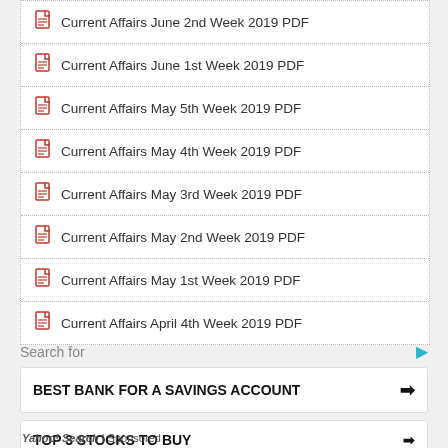Current Affairs June 2nd Week 2019 PDF
Current Affairs June 1st Week 2019 PDF
Current Affairs May 5th Week 2019 PDF
Current Affairs May 4th Week 2019 PDF
Current Affairs May 3rd Week 2019 PDF
Current Affairs May 2nd Week 2019 PDF
Current Affairs May 1st Week 2019 PDF
Current Affairs April 4th Week 2019 PDF
Search for
BEST BANK FOR A SAVINGS ACCOUNT
TOP 3 STOCKS TO BUY
Yahoo! Search | Sponsored